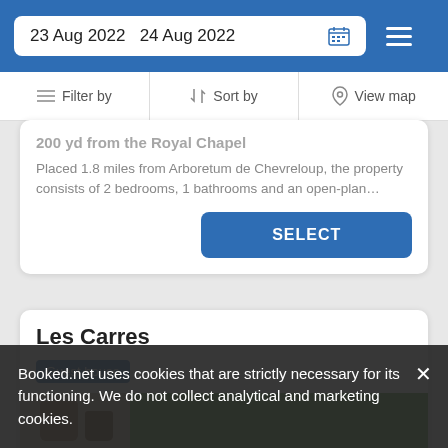23 Aug 2022   24 Aug 2022
Filter by   Sort by   View map
200 yd from the Royal Chapel
Placed 1.8 miles from Arboretum de Chevreloup, the property consists of 2 bedrooms, 1 bathrooms and an open-plan…
SELECT
Les Carres
Guest house
[Figure (photo): Photo of a property showing potted plants on a shelf on the left and dense green foliage on the right]
Booked.net uses cookies that are strictly necessary for its functioning. We do not collect analytical and marketing cookies.